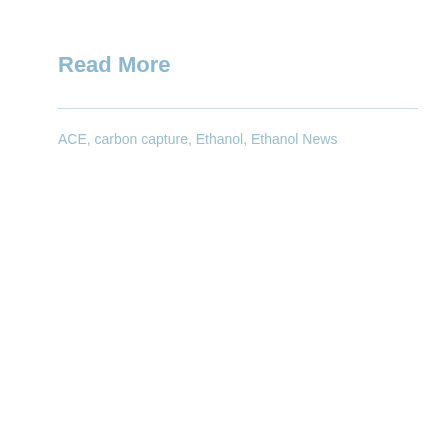Read More
ACE, carbon capture, Ethanol, Ethanol News